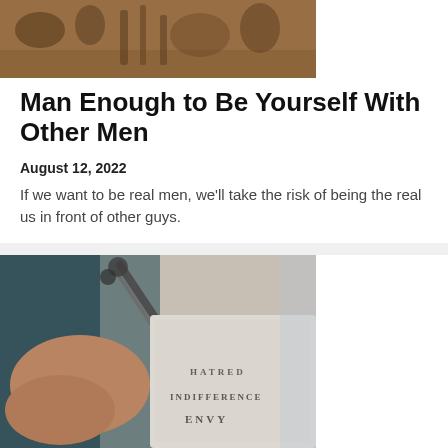[Figure (photo): Blurred photo of what appears to be a barbershop or workshop with tools/bottles in background, warm brown tones]
Man Enough to Be Yourself With Other Men
August 12, 2022
If we want to be real men, we'll take the risk of being the real us in front of other guys.
[Figure (photo): Close-up photo of hands holding scissors cutting paper that has words written on it including INDIFFERENCE and ENVY]
partial title visible at bottom